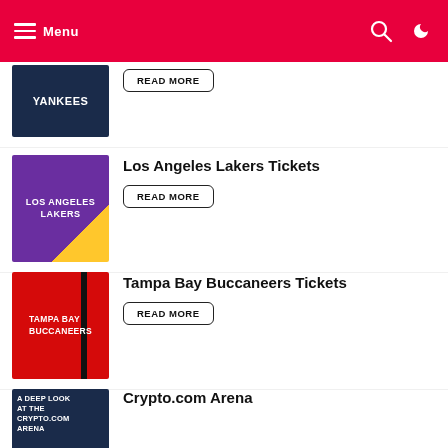Menu
Los Angeles Lakers Tickets
Tampa Bay Buccaneers Tickets
Crypto.com Arena
Las Vegas Raiders Tickets
Golden State Warriors Tickets